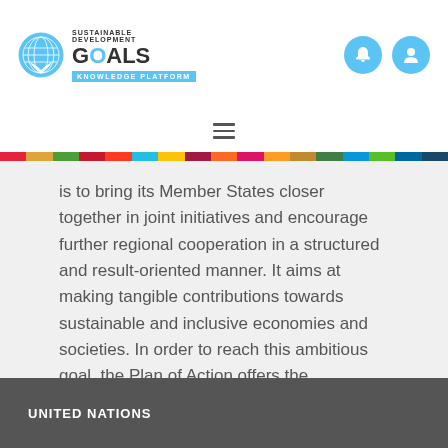[Figure (logo): UN SDG Knowledge Platform logo with UN emblem and colorful SDG branding]
is to bring its Member States closer together in joint initiatives and encourage further regional cooperation in a structured and result-oriented manner. It aims at making tangible contributions towards sustainable and inclusive economies and societies. In order to reach this ambitious goal, the Plan of Action offers the necessary framework to steer the CEI’s future activities, while committing the Organisation to a continuous improvement of its performance.
UNITED NATIONS